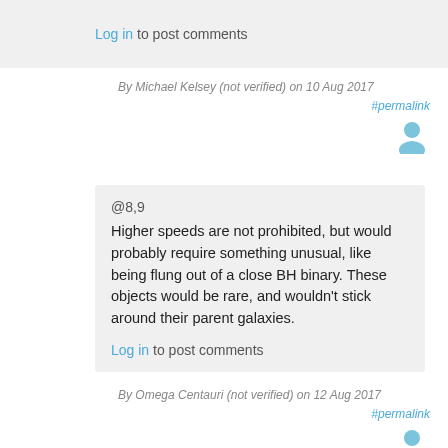Log in to post comments
By Michael Kelsey (not verified) on 10 Aug 2017
#permalink
@8,9
Higher speeds are not prohibited, but would probably require something unusual, like being flung out of a close BH binary. These objects would be rare, and wouldn't stick around their parent galaxies.
Log in to post comments
By Omega Centauri (not verified) on 12 Aug 2017
#permalink